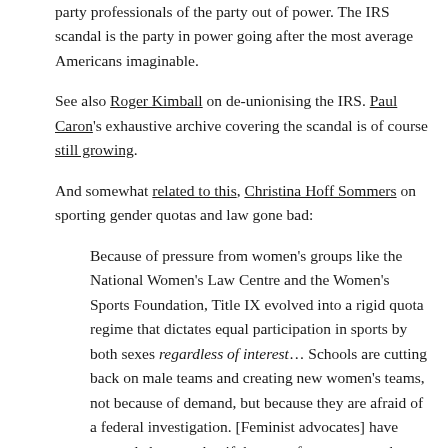party professionals of the party out of power. The IRS scandal is the party in power going after the most average Americans imaginable.
See also Roger Kimball on de-unionising the IRS. Paul Caron's exhaustive archive covering the scandal is of course still growing.
And somewhat related to this, Christina Hoff Sommers on sporting gender quotas and law gone bad:
Because of pressure from women's groups like the National Women's Law Centre and the Women's Sports Foundation, Title IX evolved into a rigid quota regime that dictates equal participation in sports by both sexes regardless of interest… Schools are cutting back on male teams and creating new women's teams, not because of demand, but because they are afraid of a federal investigation. [Feminist advocates] have persuaded courts that if there are fewer women than